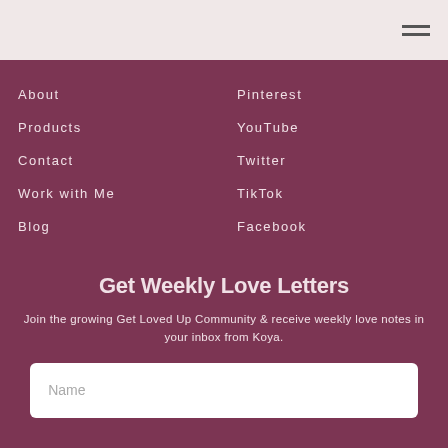About
Pinterest
Products
YouTube
Contact
Twitter
Work with Me
TikTok
Blog
Facebook
Get Weekly Love Letters
Join the growing Get Loved Up Community & receive weekly love notes in your inbox from Koya.